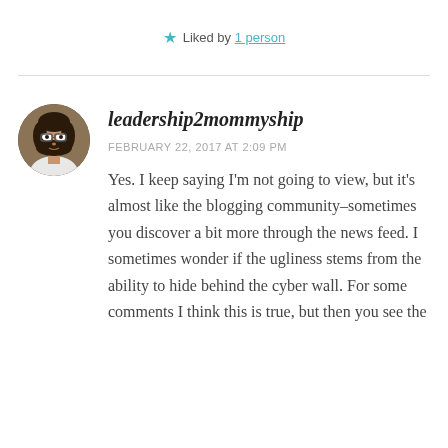★ Liked by 1 person
[Figure (photo): Circular avatar photo of a woman with dark hair and glasses]
leadership2mommyship
FEBRUARY 22, 2017 AT 2:09 PM
Yes. I keep saying I'm not going to view, but it's almost like the blogging community–sometimes you discover a bit more through the news feed. I sometimes wonder if the ugliness stems from the ability to hide behind the cyber wall. For some comments I think this is true, but then you see the